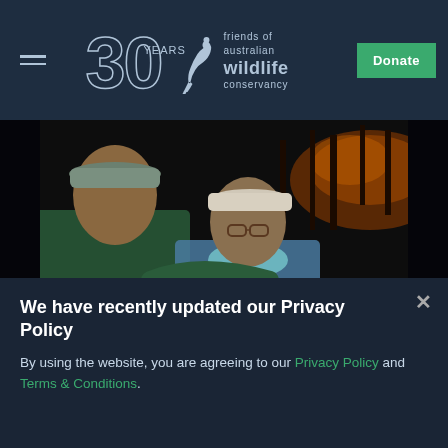Friends of Australian Wildlife Conservancy — 30 Years | Donate
[Figure (photo): Two people standing together at night with fire/flames visible in background. Man in green shirt on left, woman in blue shirt and white cap on right.]
We have recently updated our Privacy Policy
By using the website, you are agreeing to our Privacy Policy and Terms & Conditions.